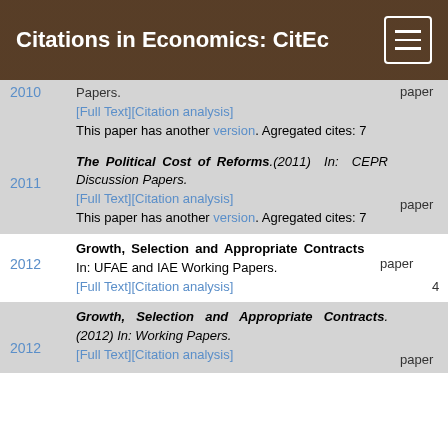Citations in Economics: CitEc
2010 — [Full Text][Citation analysis] This paper has another version. Agregated cites: 7 — paper
2011 — The Political Cost of Reforms.(2011) In: CEPR Discussion Papers. [Full Text][Citation analysis] This paper has another version. Agregated cites: 7 — paper
2012 — Growth, Selection and Appropriate Contracts In: UFAE and IAE Working Papers. [Full Text][Citation analysis] — paper 4
2012 — Growth, Selection and Appropriate Contracts.(2012) In: Working Papers. [Full Text][Citation analysis] — paper